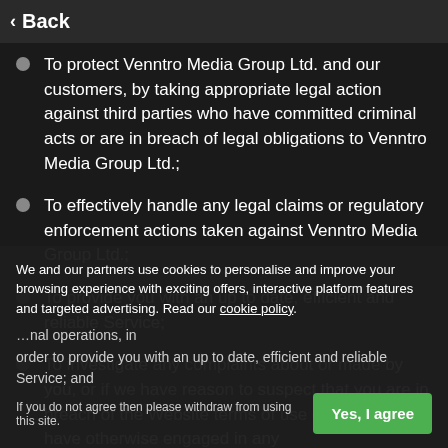< Back
To protect Venntro Media Group Ltd. and our customers, by taking appropriate legal action against third parties who have committed criminal acts or are in breach of legal obligations to Venntro Media Group Ltd.;
To effectively handle any legal claims or regulatory enforcement actions taken against Venntro Media Group Ltd.;
To provide you with an up to date, efficient and reliable Service;
To investigate any complaints about or made by you, or if we have reason to suspect that you are in breach of the Website terms of use or that you have otherwise engaged in any unlawful activity.
We and our partners use cookies to personalise and improve your browsing experience with exciting offers, interactive platform features and targeted advertising. Read our cookie policy.
If you do not agree then please withdraw from using this site.
Yes, I agree